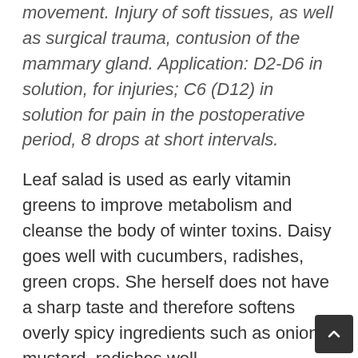movement. Injury of soft tissues, as well as surgical trauma, contusion of the mammary gland. Application: D2-D6 in solution, for injuries; C6 (D12) in solution for pain in the postoperative period, 8 drops at short intervals.
Leaf salad is used as early vitamin greens to improve metabolism and cleanse the body of winter toxins. Daisy goes well with cucumbers, radishes, green crops. She herself does not have a sharp taste and therefore softens overly spicy ingredients such as onions, mustard, radishes well.
Along with daisy leaves, dandelion leaves